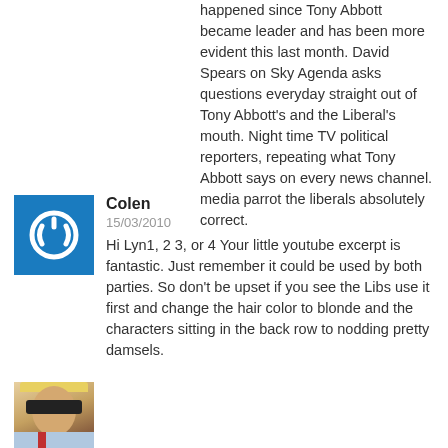happened since Tony Abbott became leader and has been more evident this last month. David Spears on Sky Agenda asks questions everyday straight out of Tony Abbott's and the Liberal's mouth. Night time TV political reporters, repeating what Tony Abbott says on every news channel. media parrot the liberals absolutely correct.
Colen
15/03/2010
Hi Lyn1, 2 3, or 4 Your little youtube excerpt is fantastic. Just remember it could be used by both parties. So don't be upset if you see the Libs use it first and change the hair color to blonde and the characters sitting in the back row to nodding pretty damsels.
[Figure (photo): Profile photo of a person wearing sunglasses and a yellow hat, with a blue shirt and red tie, outdoor photo.]